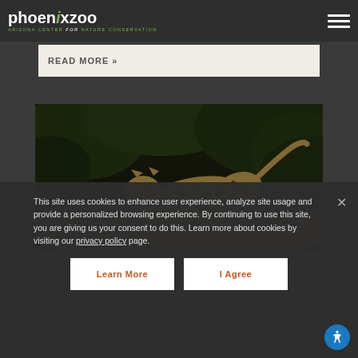phoenix zoo — Arizona Center for Nature Conservation
READ MORE »
[Figure (photo): A leopard or jaguar crouching low on a sandy path surrounded by green foliage in a dark, moody lighting]
This site uses cookies to enhance user experience, analyze site usage and provide a personalized browsing experience. By continuing to use this site, you are giving us your consent to do this. Learn more about cookies by visiting our privacy policy page.
Learn More
I Agree